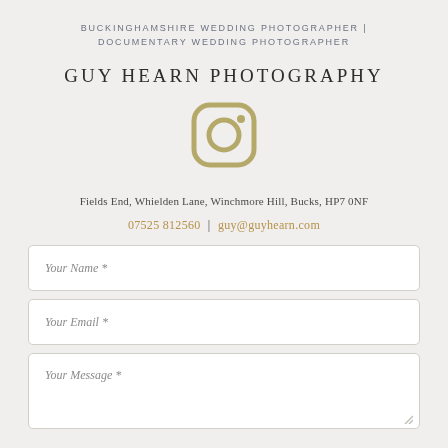BUCKINGHAMSHIRE WEDDING PHOTOGRAPHER | DOCUMENTARY WEDDING PHOTOGRAPHER
GUY HEARN PHOTOGRAPHY
[Figure (logo): Instagram icon in olive/gold color]
Fields End, Whielden Lane, Winchmore Hill, Bucks, HP7 0NF
07525 812560  |  guy@guyhearn.com
Your Name *
Your Email *
Your Message *